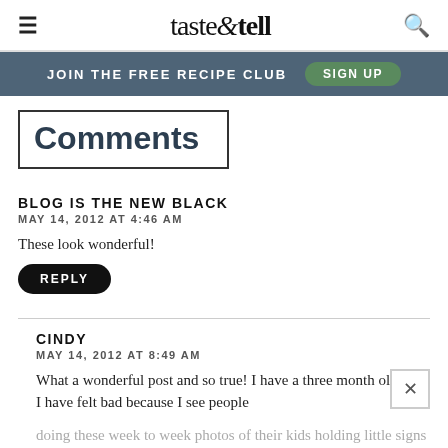taste & tell
JOIN THE FREE RECIPE CLUB  SIGN UP
Comments
BLOG IS THE NEW BLACK
MAY 14, 2012 AT 4:46 AM
These look wonderful!
REPLY
CINDY
MAY 14, 2012 AT 8:49 AM
What a wonderful post and so true! I have a three month old and I have felt bad because I see people doing these week to week photos of their kids holding little signs and guess what I tried to do one of those